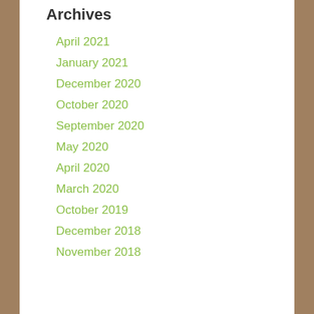Archives
April 2021
January 2021
December 2020
October 2020
September 2020
May 2020
April 2020
March 2020
October 2019
December 2018
November 2018